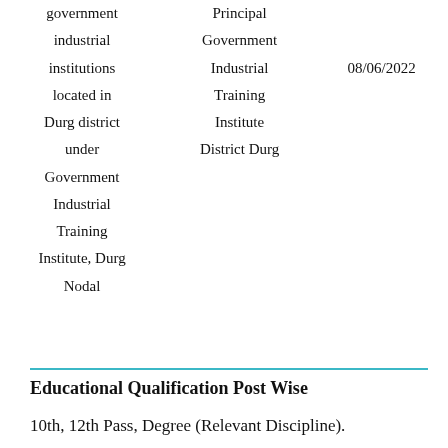|  |  |  |
| --- | --- | --- |
| government | Principal |  |
| industrial | Government |  |
| institutions | Industrial | 08/06/2022 |
| located in | Training |  |
| Durg district | Institute |  |
| under | District Durg |  |
| Government |  |  |
| Industrial |  |  |
| Training |  |  |
| Institute, Durg |  |  |
| Nodal |  |  |
Educational Qualification Post Wise
10th, 12th Pass, Degree (Relevant Discipline).